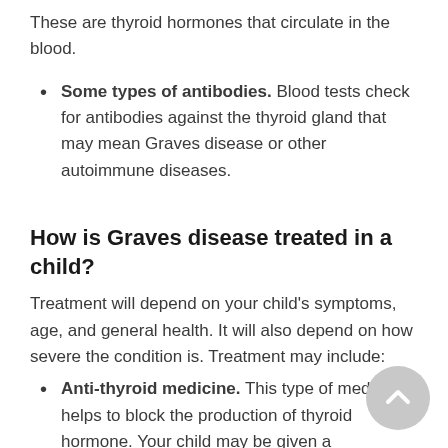These are thyroid hormones that circulate in the blood.
Some types of antibodies. Blood tests check for antibodies against the thyroid gland that may mean Graves disease or other autoimmune diseases.
How is Graves disease treated in a child?
Treatment will depend on your child’s symptoms, age, and general health. It will also depend on how severe the condition is. Treatment may include:
Anti-thyroid medicine. This type of medicine helps to block the production of thyroid hormone. Your child may be given a medication known as methimazole. Propylthiouracil is not often used because it